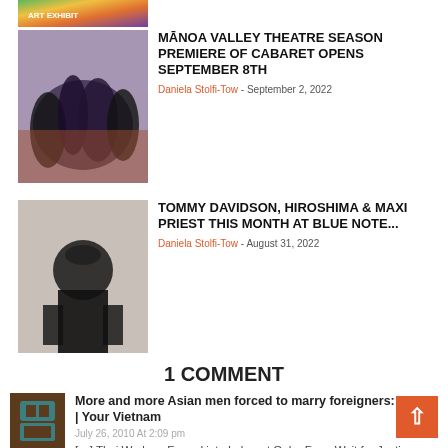[Figure (photo): Colorful graffiti/mural image at top of page, partially cropped]
[Figure (photo): Group of performers in black outfits on stage]
MĀNOA VALLEY THEATRE SEASON PREMIERE OF CABARET OPENS SEPTEMBER 8TH
Daniela Stolfi-Tow - September 2, 2022
[Figure (photo): Man in black outfit and hat posing]
TOMMY DAVIDSON, HIROSHIMA & MAXI PRIEST THIS MONTH AT BLUE NOTE...
Daniela Stolfi-Tow - August 31, 2022
1 COMMENT
[Figure (photo): Comment avatar icon - brown/teal user icon]
More and more Asian men forced to marry foreigners: study | Your Vietnam
July 26, 2010 At 2:09 pm
[…] Thai Workers Forced into Labor at Oahu Farm Wait for Justice… […]